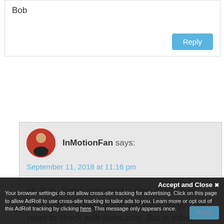Bob
Reply
InMotionFan says:
September 11, 2018 at 11:16 pm
Hi, Bob. Some web builder sites don't allow their users to migrate the site itself, so you will need to check with webs.com. But in either case, you can always point your domain to a new site hosted with us.
Accept and Close
Your browser settings do not allow cross-site tracking for advertising. Click on this page to allow AdRoll to use cross-site tracking to tailor ads to you. Learn more or opt out of this AdRoll tracking by clicking here. This message only appears once.